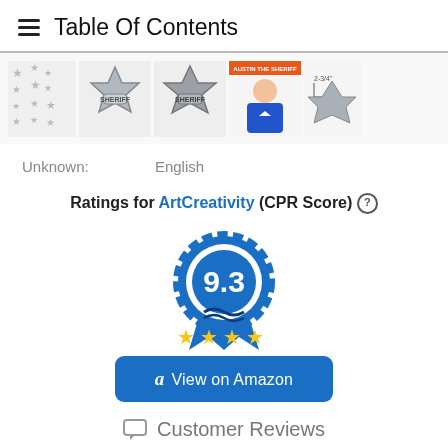Table Of Contents
[Figure (photo): Row of product images showing sheriff badges and a child wearing a sheriff badge, plus a size diagram.]
Unknown:    English
Ratings for ArtCreativity (CPR Score) ?
[Figure (infographic): Blue ribbon award badge showing score 9.3 with four gold stars below it.]
View on Amazon
Customer Reviews